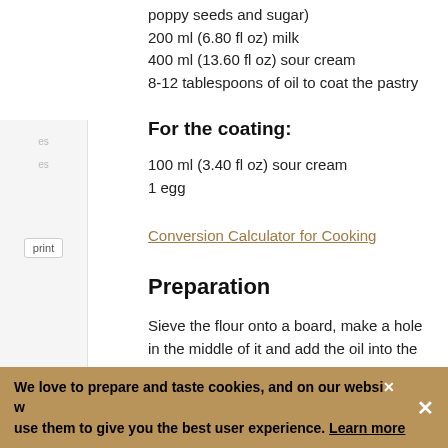poppy seeds and sugar)
200 ml (6.80 fl oz) milk
400 ml (13.60 fl oz) sour cream
8-12 tablespoons of oil to coat the pastry
For the coating:
100 ml (3.40 fl oz) sour cream
1 egg
Conversion Calculator for Cooking
Preparation
Sieve the flour onto a board, make a hole in the middle of it and add the oil into the hole. Gradually create a paste by adding water into which you put salt and vinegar. Then continue to knead for 10 minutes until smooth. Divide it into four parts, knead and round them, put on a board sprinkled with flour
We love to prepare and taste cookies, and on our website we use them to give you the best user experience. Learn more